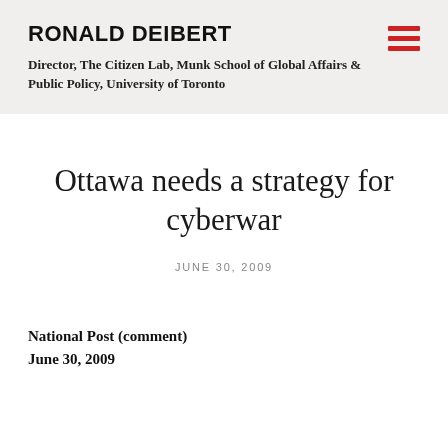RONALD DEIBERT
Director, The Citizen Lab, Munk School of Global Affairs & Public Policy, University of Toronto
Ottawa needs a strategy for cyberwar
JUNE 30, 2009
National Post (comment)
June 30, 2009